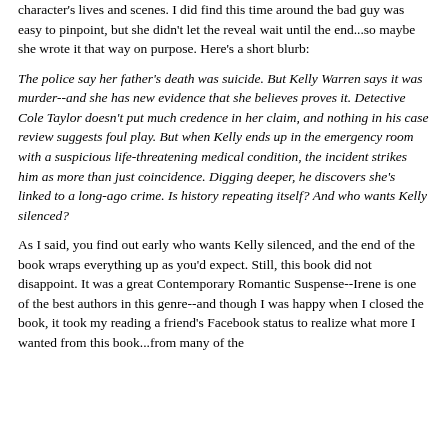character's lives and scenes. I did find this time around the bad guy was easy to pinpoint, but she didn't let the reveal wait until the end...so maybe she wrote it that way on purpose. Here's a short blurb:
The police say her father's death was suicide. But Kelly Warren says it was murder--and she has new evidence that she believes proves it. Detective Cole Taylor doesn't put much credence in her claim, and nothing in his case review suggests foul play. But when Kelly ends up in the emergency room with a suspicious life-threatening medical condition, the incident strikes him as more than just coincidence. Digging deeper, he discovers she's linked to a long-ago crime. Is history repeating itself? And who wants Kelly silenced?
As I said, you find out early who wants Kelly silenced, and the end of the book wraps everything up as you'd expect. Still, this book did not disappoint. It was a great Contemporary Romantic Suspense--Irene is one of the best authors in this genre--and though I was happy when I closed the book, it took my reading a friend's Facebook status to realize what more I wanted from this book...from many of the